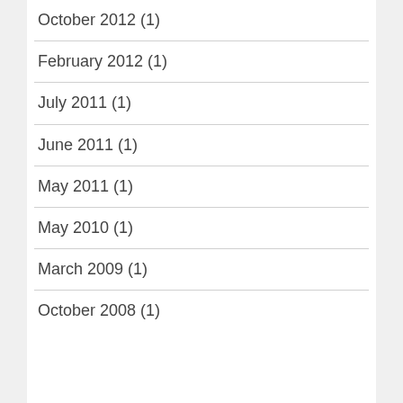October 2012 (1)
February 2012 (1)
July 2011 (1)
June 2011 (1)
May 2011 (1)
May 2010 (1)
March 2009 (1)
October 2008 (1)